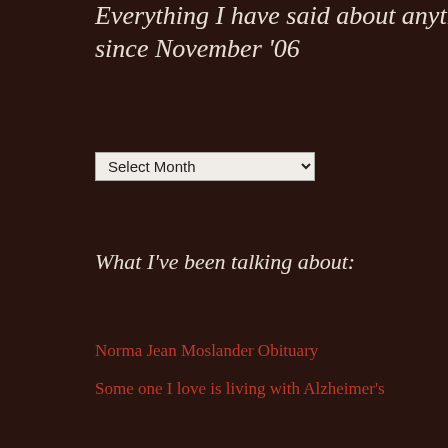Everything I have said about anything since November '06
Select Month
What I've been talking about:
Norma Jean Moslander Obituary
Some one I love is living with Alzheimer's
My Memory-Keeper is Losing Hers…
Childlike
May I?